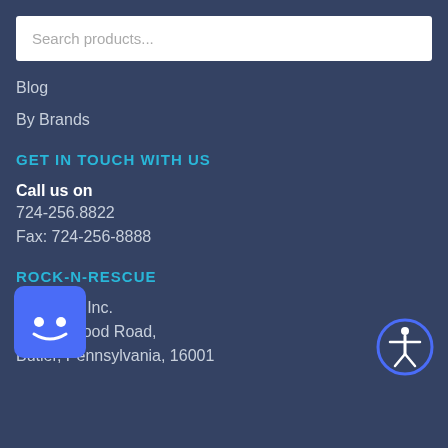Search products...
Blog
By Brands
GET IN TOUCH WITH US
Call us on
724-256.8822
Fax: 724-256-8888
ROCK-N-RESCUE
J. B  el, Inc.
300 Delwood Road,
Butler, Pennsylvania, 16001